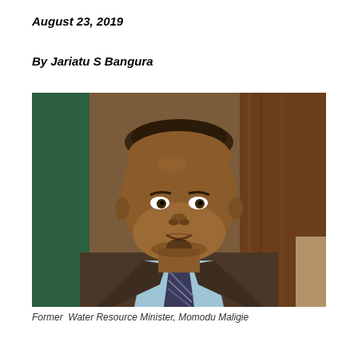August 23, 2019
By Jariatu S Bangura
[Figure (photo): Portrait photograph of Former Water Resource Minister Momodu Maligie. A man in a dark brown suit and light blue shirt with a striped tie, photographed against a backdrop featuring green and wood-brown tones.]
Former  Water Resource Minister, Momodu Maligie